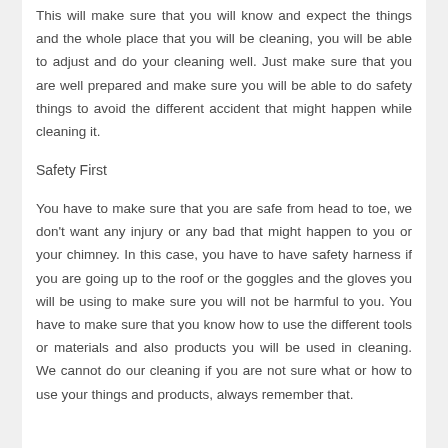This will make sure that you will know and expect the things and the whole place that you will be cleaning, you will be able to adjust and do your cleaning well. Just make sure that you are well prepared and make sure you will be able to do safety things to avoid the different accident that might happen while cleaning it.
Safety First
You have to make sure that you are safe from head to toe, we don't want any injury or any bad that might happen to you or your chimney. In this case, you have to have safety harness if you are going up to the roof or the goggles and the gloves you will be using to make sure you will not be harmful to you. You have to make sure that you know how to use the different tools or materials and also products you will be used in cleaning. We cannot do our cleaning if you are not sure what or how to use your things and products, always remember that.